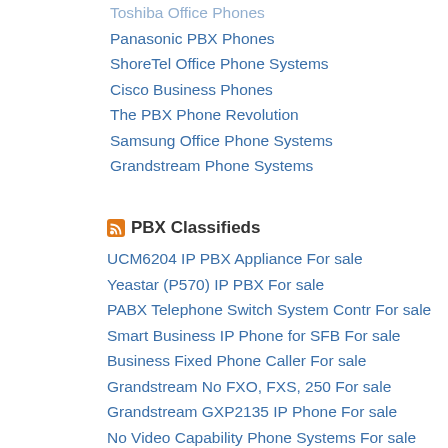Toshiba Office Phones
Panasonic PBX Phones
ShoreTel Office Phone Systems
Cisco Business Phones
The PBX Phone Revolution
Samsung Office Phone Systems
Grandstream Phone Systems
PBX Classifieds
UCM6204 IP PBX Appliance For sale
Yeastar (P570) IP PBX For sale
PABX Telephone Switch System Contr For sale
Smart Business IP Phone for SFB For sale
Business Fixed Phone Caller For sale
Grandstream No FXO, FXS, 250 For sale
Grandstream GXP2135 IP Phone For sale
No Video Capability Phone Systems For sale
GRP2670 12-Line 6 SIP IP Phone For sale
4 Line IP Phone, 2 SIP Accounts For sale